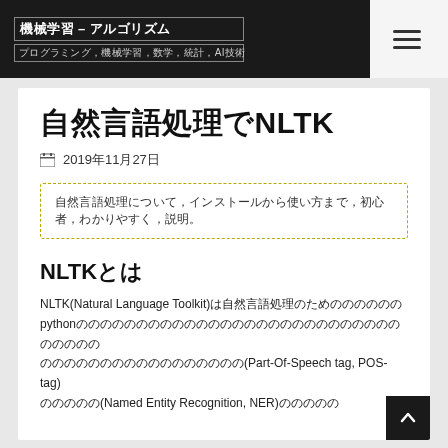機械学習 – アルゴリズム / プログラミング,機械学習,数学,統計,AI技術
自然言語処理でNLTK
📅 2019年11月27日
自然言語処理について、インストールから使い方まで、初心者、わかりやすく、説明。
NLTKとは
NLTK(Natural Language Toolkit)は自然言語処理のためのpythonのライブラリです。テキストの品詞タグ付け(Part-Of-Speech tag, POS-tag)、固有表現抽出(Named Entity Recognition, NER)などの